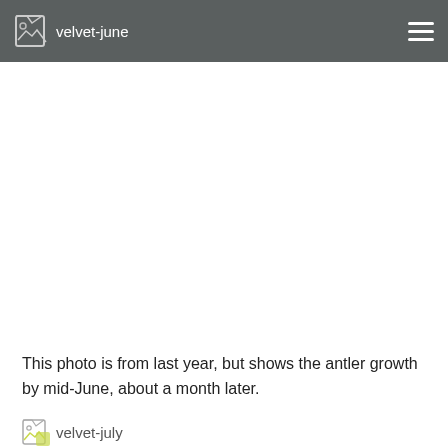velvet-june
[Figure (photo): Large white/blank photo area showing velvet antler growth by mid-June]
This photo is from last year, but shows the antler growth by mid-June, about a month later.
[Figure (photo): velvet-july image thumbnail with label]